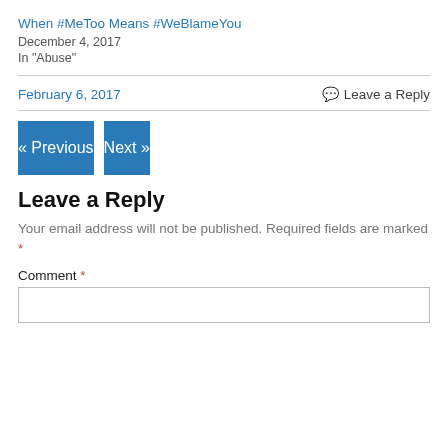When #MeToo Means #WeBlameYou
December 4, 2017
In "Abuse"
February 6, 2017
Leave a Reply
« Previous
Next »
Leave a Reply
Your email address will not be published. Required fields are marked *
Comment *